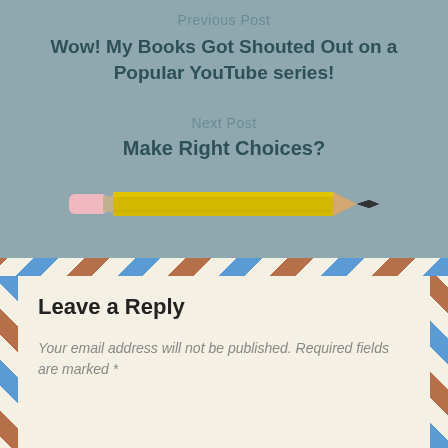Previous Post
Wow! My Books Got Shouted Out on a Popular YouTube series!
Next Post
Make Right Choices?
[Figure (illustration): A yellow pencil illustration with pink eraser end on the left and dark tip on the right, pointing slightly upward from left to right.]
Leave a Reply
Your email address will not be published. Required fields are marked *